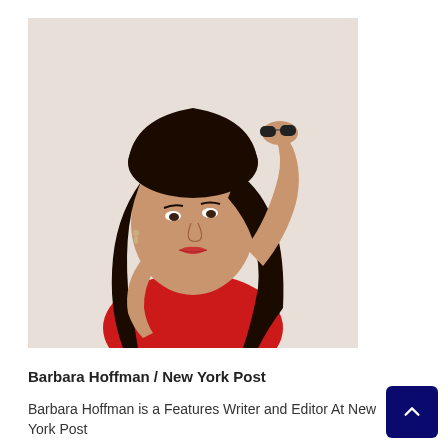[Figure (photo): A woman with long dark hair wearing a red top, holding sunglasses above her head, posed against a light background.]
Barbara Hoffman / New York Post
Barbara Hoffman is a Features Writer and Editor At New York Post